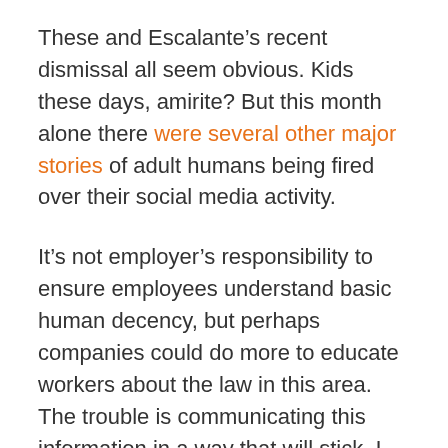These and Escalante's recent dismissal all seem obvious. Kids these days, amirite? But this month alone there were several other major stories of adult humans being fired over their social media activity.
It's not employer's responsibility to ensure employees understand basic human decency, but perhaps companies could do more to educate workers about the law in this area. The trouble is communicating this information in a way that will stick. I know from my own experience in conducting orientations that less is more. They won't remember statues. They won't remember complex rules or long